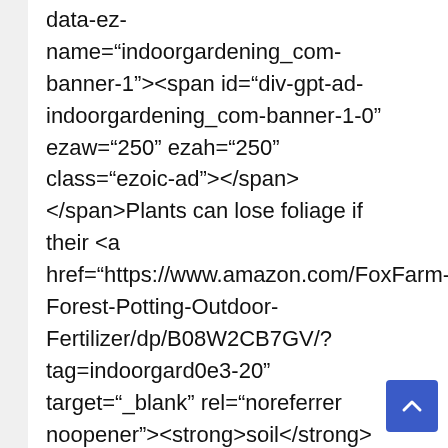data-ez-name="indoorgardening_com-banner-1"><span id="div-gpt-ad-indoorgardening_com-banner-1-0" ezaw="250" ezah="250" class="ezoic-ad"></span></span>Plants can lose foliage if their <a href="https://www.amazon.com/FoxFarm-Forest-Potting-Outdoor-Fertilizer/dp/B08W2CB7GV/?tag=indoorgard0e3-20" target="_blank" rel="noreferrer noopener"><strong>soil</strong></a> is too saturated with water and if the soil is too dry. The majority of indoor plants like the soak and dry method. Saturate your plant thoroughly and allow its soil to dry out before <a href="https://www.amazon.com/Watering-Indoor-Plants-Succulents-